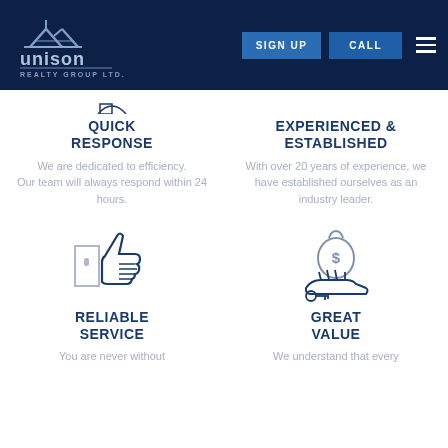[Figure (logo): Unison Realty Group Ltd logo with house graphic on dark navy background]
QUICK RESPONSE
We are dedicated to efficiency. Our team will always respond within 24 hours.
EXPERIENCED & ESTABLISHED
With over 20 years of experience, we have established ourselves as an industry leader.
[Figure (illustration): Thumbs up icon with door/building icon in navy blue and grey]
RELIABLE SERVICE
You are never without
[Figure (illustration): Hand holding money bag with dollar sign icon in navy blue and grey]
GREAT VALUE
We understand that every